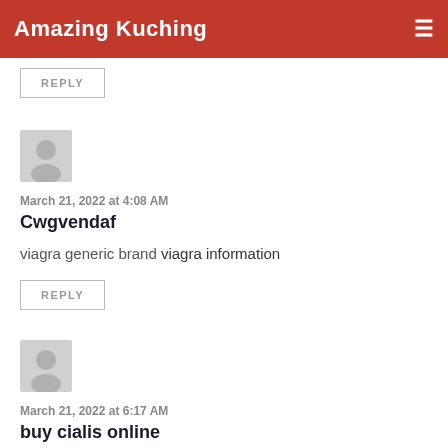Amazing Kuching
REPLY
[Figure (illustration): Generic user avatar silhouette icon, grey]
March 21, 2022 at 4:08 AM
Cwgvendaf
viagra generic brand viagra information
REPLY
[Figure (illustration): Generic user avatar silhouette icon, grey]
March 21, 2022 at 6:17 AM
buy cialis online
where to order tadalafil tablets cost of cialis